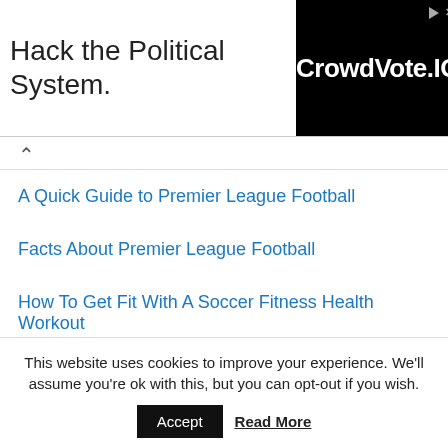[Figure (other): Advertisement banner: 'Hack the Political System.' text on white background with CrowdVote.IO logo on black background]
A Quick Guide to Premier League Football
Facts About Premier League Football
How To Get Fit With A Soccer Fitness Health Workout
PAGES
Terms
Privacy
This website uses cookies to improve your experience. We'll assume you're ok with this, but you can opt-out if you wish.